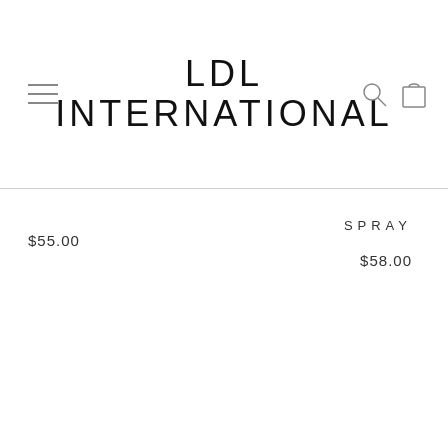LDL INTERNATIONAL
$55.00
SPRAY
$58.00